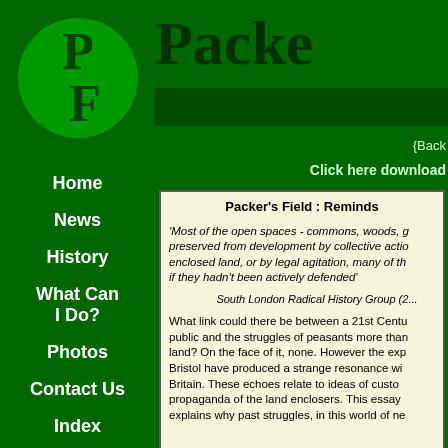[Figure (logo): Green circle with PF letters in dark green serif font on a green background]
Home
News
History
What Can I Do?
Photos
Contact Us
Index
Links
Packe
{Back
Click here download
Packer's Field : Reminds
'Most of the open spaces - commons, woods, g... preserved from development by collective actio... enclosed land, or by legal agitation, many of th... if they hadn't been actively defended'
South London Radical History Group (2...
What link could there be between a 21st Centu... public and the struggles of peasants more than... land? On the face of it, none. However the exp... Bristol have produced a strange resonance wi... Britain. These echoes relate to ideas of custo... propaganda of the land enclosers. This essay ... explains why past struggles, in this world of ne...